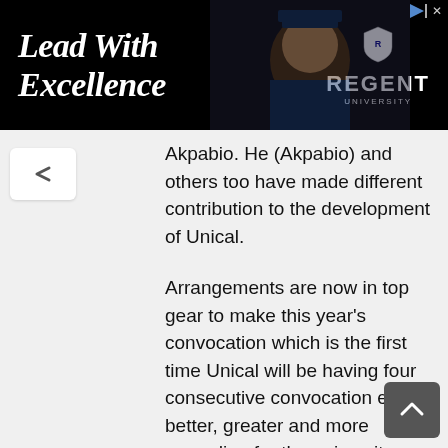[Figure (screenshot): Advertisement banner with dark background showing 'Lead With Excellence' text and Regent University logo with graduation photo]
Akpabio. He (Akpabio) and others too have made different contribution to the development of Unical.
Arrangements are now in top gear to make this year's convocation which is the first time Unical will be having four consecutive convocation even better, greater and more rewarding for the university.
Indeed, Prof. Akpagu has moved Unical to an enviable height that is competing favourably today with universities not just in Nigeria but the world by effortlessly doing things which were previously considered impossible!